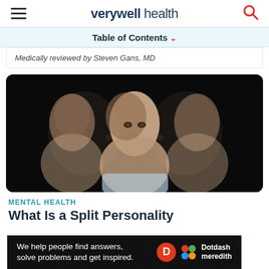verywell health
Table of Contents
Medically reviewed by Steven Gans, MD
[Figure (photo): A woman shown three times in a multiple exposure photograph against a black background, facing left profile, center, and right profile, illustrating split personality.]
MENTAL HEALTH
What Is a Split Personality
[Figure (other): Advertisement bar: We help people find answers, solve problems and get inspired. Dotdash Meredith logo.]